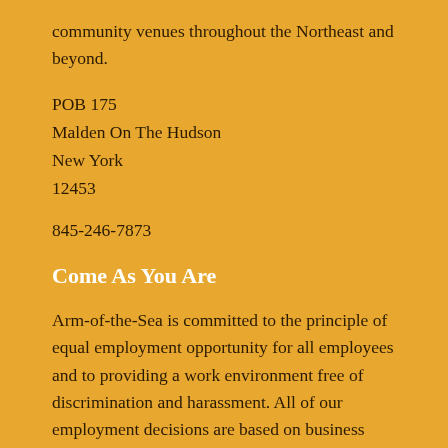community venues throughout the Northeast and beyond.
POB 175
Malden On The Hudson
New York
12453
845-246-7873
Come As You Are
Arm-of-the-Sea is committed to the principle of equal employment opportunity for all employees and to providing a work environment free of discrimination and harassment. All of our employment decisions are based on business needs, job requirements and individual qualifications, without regard to race, color, religion or belief, family or parental status, or